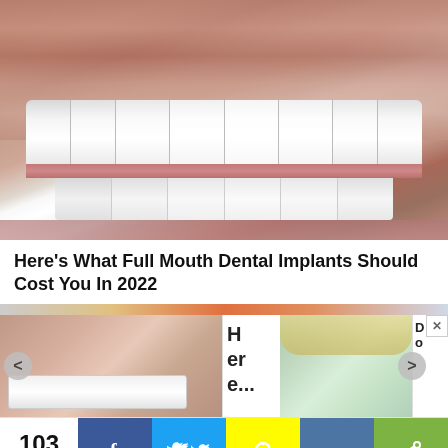[Figure (photo): Close-up photo of a man smiling showing full mouth dental implants — bright white upper and lower teeth, stubble visible on chin and upper lip area]
Here's What Full Mouth Dental Implants Should Cost You In 2022
[Figure (photo): Thumbnail of dental implant photo on the left side of a carousel]
H er e...
[Figure (photo): Thumbnail of a blonde woman on the right side of a carousel]
D o
103 Shares
[Figure (infographic): Social share bar with Facebook, Twitter, Snapchat, VK, and generic share buttons]